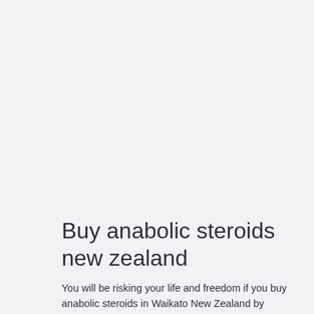Buy anabolic steroids new zealand
You will be risking your life and freedom if you buy anabolic steroids in Waikato New Zealand by connecting on your own with a peddleror dealer. You might be taking a big